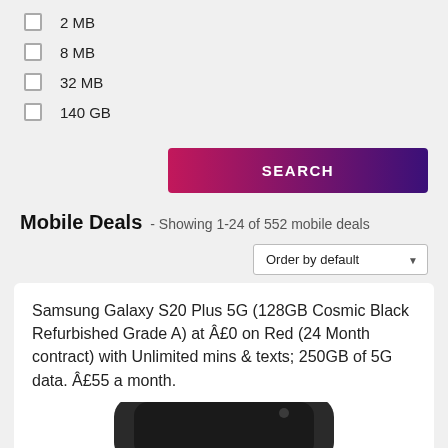2 MB
8 MB
32 MB
140 GB
[Figure (screenshot): SEARCH button with gradient from pink/red to dark purple]
Mobile Deals - Showing 1-24 of 552 mobile deals
Order by default
Samsung Galaxy S20 Plus 5G (128GB Cosmic Black Refurbished Grade A) at £0 on Red (24 Month contract) with Unlimited mins & texts; 250GB of 5G data. £55 a month.
[Figure (photo): Bottom portion of Samsung Galaxy S20 Plus 5G smartphone in black/dark color]